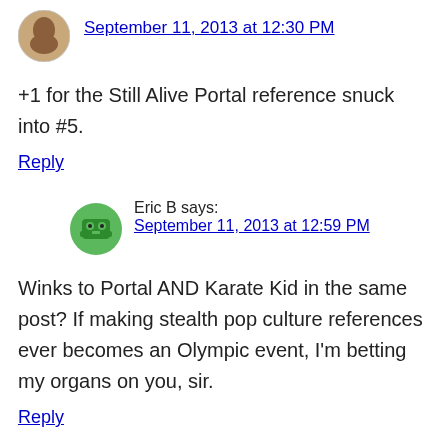[Figure (illustration): Small circular avatar image of a user (brown/tan colored icon), positioned at top left of comment thread]
September 11, 2013 at 12:30 PM
+1 for the Still Alive Portal reference snuck into #5.
Reply
[Figure (illustration): Circular green avatar with a robot/monster face icon for user Eric B]
Eric B says:
September 11, 2013 at 12:59 PM
Winks to Portal AND Karate Kid in the same post? If making stealth pop culture references ever becomes an Olympic event, I’m betting my organs on you, sir.
Reply
25 Steps to Edit the Unmerciful Suck Out of Your Story by